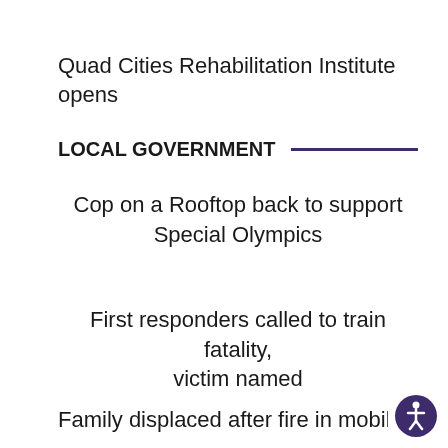Quad Cities Rehabilitation Institute opens
LOCAL GOVERNMENT
Cop on a Rooftop back to support Special Olympics
First responders called to train fatality, victim named
Family displaced after fire in mobile ho…